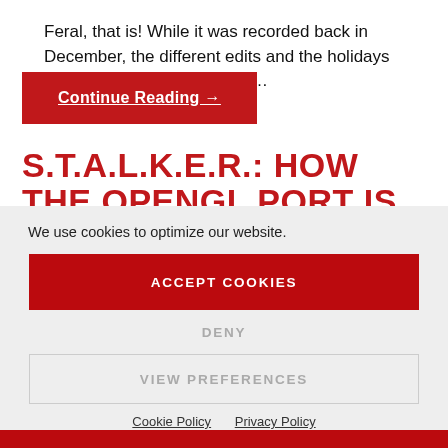Feral, that is! While it was recorded back in December, the different edits and the holidays in-between have somewhat…
Continue Reading →
S.T.A.L.K.E.R.: HOW THE OPENGL PORT IS SHAPING UP
We use cookies to optimize our website.
ACCEPT COOKIES
DENY
VIEW PREFERENCES
Cookie Policy   Privacy Policy